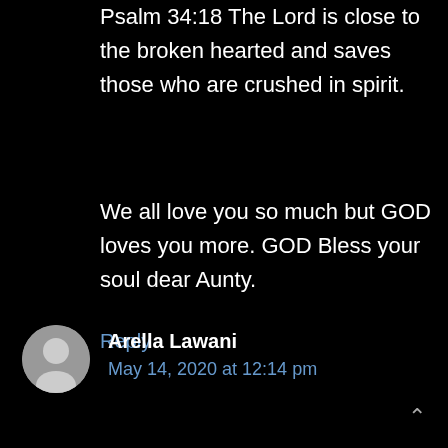Psalm 34:18 The Lord is close to the broken hearted and saves those who are crushed in spirit.
We all love you so much but GOD loves you more. GOD Bless your soul dear Aunty.
Reply
Arella Lawani
May 14, 2020 at 12:14 pm